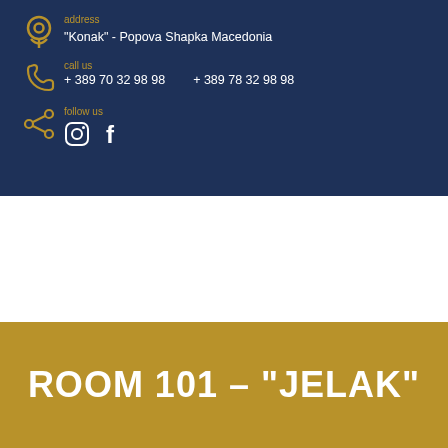address
"Konak" - Popova Shapka Macedonia
call us
+ 389 70 32 98 98    + 389 78 32 98 98
follow us
[Figure (logo): Konak Popova Shapka logo with house/mountain illustration]
ROOM 101 – "JELAK"